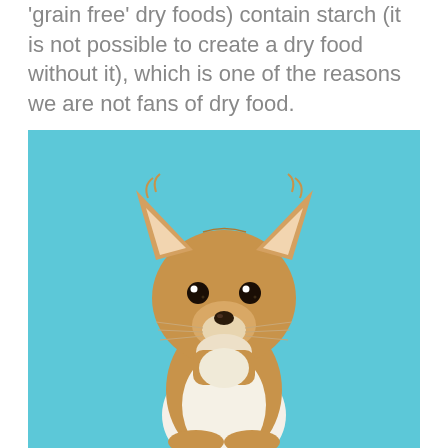'grain free' dry foods) contain starch (it is not possible to create a dry food without it), which is one of the reasons we are not fans of dry food.
[Figure (photo): A Chihuahua puppy sitting upright against a light blue background, facing the camera with large upright ears and brown and white fur.]